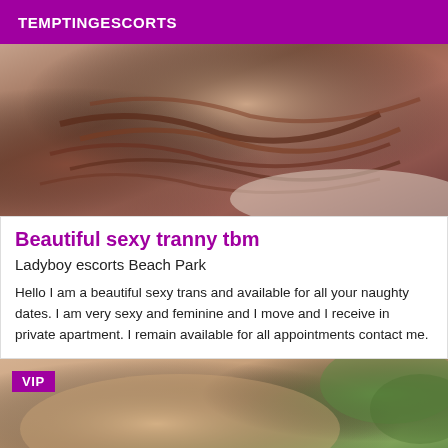TEMPTINGESCORTS
[Figure (photo): Close-up photo showing auburn/red hair against skin, top portion of a person lying down]
Beautiful sexy tranny tbm
Ladyboy escorts Beach Park
Hello I am a beautiful sexy trans and available for all your naughty dates. I am very sexy and feminine and I move and I receive in private apartment. I remain available for all appointments contact me.
[Figure (photo): Photo of a person's bare chest/torso with green foliage visible in the background, VIP badge overlay in top left]